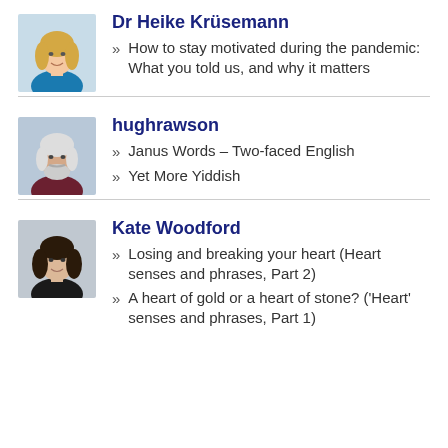[Figure (photo): Headshot photo of Dr Heike Krüsemann, a blonde woman]
Dr Heike Krüsemann
» How to stay motivated during the pandemic: What you told us, and why it matters
[Figure (photo): Headshot photo of hughrawson, an older man with a beard]
hughrawson
» Janus Words – Two-faced English
» Yet More Yiddish
[Figure (photo): Headshot photo of Kate Woodford, a woman with dark hair]
Kate Woodford
» Losing and breaking your heart (Heart senses and phrases, Part 2)
» A heart of gold or a heart of stone? ('Heart' senses and phrases, Part 1)